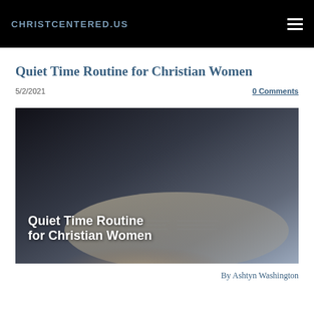CHRISTCENTERED.US
Quiet Time Routine for Christian Women
5/2/2021    0 Comments
[Figure (photo): A woman reading a Bible, hands visible holding the book. Overlaid text reads: Quiet Time Routine for Christian Women]
By Ashtyn Washington